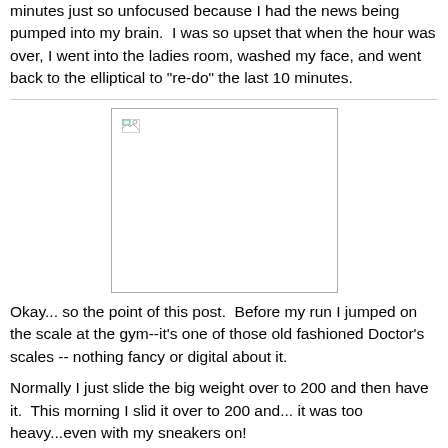minutes just so unfocused because I had the news being pumped into my brain.  I was so upset that when the hour was over, I went into the ladies room, washed my face, and went back to the elliptical to "re-do" the last 10 minutes.
[Figure (photo): Placeholder image with broken image icon]
Okay... so the point of this post.  Before my run I jumped on the scale at the gym--it's one of those old fashioned Doctor's scales -- nothing fancy or digital about it.
Normally I just slide the big weight over to 200 and then have it.  This morning I slid it over to 200 and... it was too heavy...even with my sneakers on!
I blinked my eyes (as it was before 6 a.m. and wanted to make sure i was doing it correctly).  Yep. Doing it all